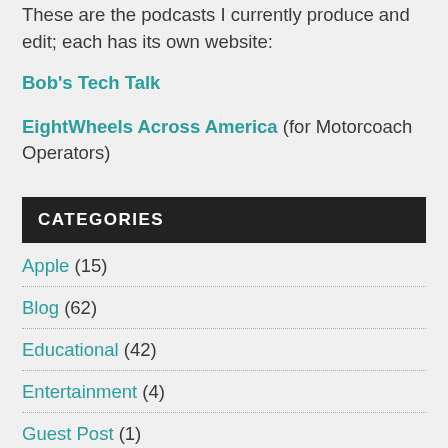These are the podcasts I currently produce and edit; each has its own website:
Bob's Tech Talk
EightWheels Across America (for Motorcoach Operators)
CATEGORIES
Apple (15)
Blog (62)
Educational (42)
Entertainment (4)
Guest Post (1)